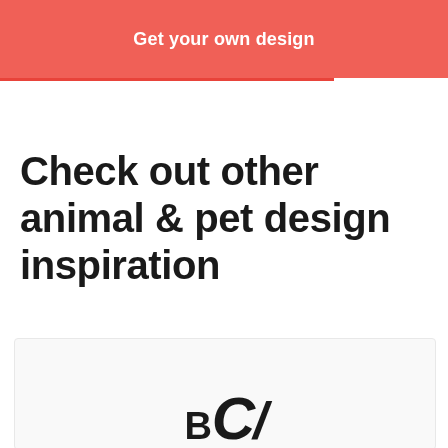Get your own design
Check out other animal & pet design inspiration
[Figure (illustration): Partial view of a typography/lettering design card showing stylized letters B, C, and a slash mark at the bottom of the page]